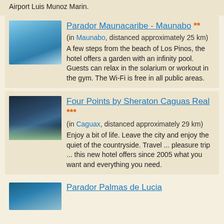Airport Luis Munoz Marin.
Parador Maunacaribe - Maunabo ** (in Maunabo, distanced approximately 25 km) A few steps from the beach of Los Pinos, the hotel offers a garden with an infinity pool. Guests can relax in the solarium or workout in the gym. The Wi-Fi is free in all public areas.
Four Points by Sheraton Caguas Real *** (in Caguax, distanced approximately 29 km) Enjoy a bit of life. Leave the city and enjoy the quiet of the countryside. Travel ... pleasure trip ... this new hotel offers since 2005 what you want and everything you need.
Parador Palmas de Lucia